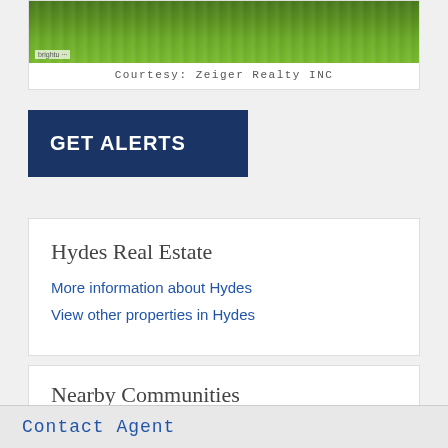[Figure (photo): Aerial or ground-level photo of a grass lawn/field, green turf with 'brightu' watermark badge in bottom left corner]
Courtesy: Zeiger Realty INC
GET ALERTS
Hydes Real Estate
More information about Hydes
View other properties in Hydes
Nearby Communities
Baldwin, MD
Fork, MD
Contact Agent